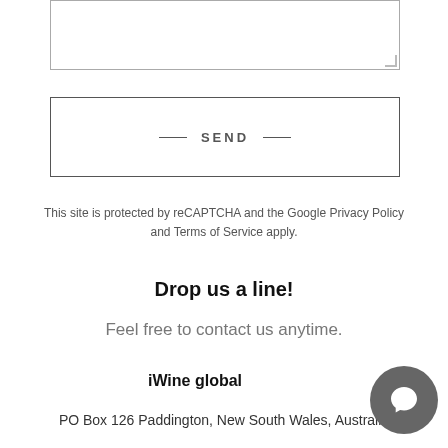[Figure (other): Textarea input box (partially visible at top of page)]
— SEND —
This site is protected by reCAPTCHA and the Google Privacy Policy and Terms of Service apply.
Drop us a line!
Feel free to contact us anytime.
iWine global
PO Box 126 Paddington, New South Wales, Australia